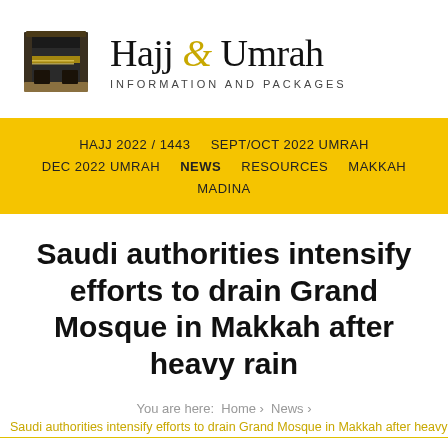[Figure (logo): Hajj & Umrah website logo showing the Kaaba illustration alongside site name and tagline]
HAJJ 2022 / 1443   SEPT/OCT 2022 UMRAH   DEC 2022 UMRAH   NEWS   RESOURCES   MAKKAH   MADINA
Saudi authorities intensify efforts to drain Grand Mosque in Makkah after heavy rain
You are here:  Home >  News >
Saudi authorities intensify efforts to drain Grand Mosque in Makkah after heavy ra